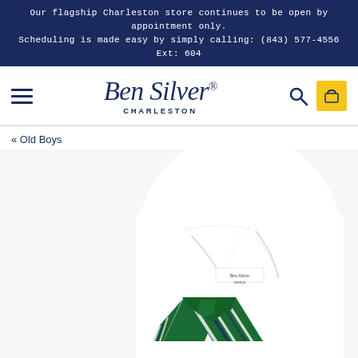Our flagship Charleston store continues to be open by appointment only. Scheduling is made easy by simply calling: (843) 577-4556 Ext: 604
[Figure (logo): Ben Silver Charleston logo with hamburger menu, search icon, and yellow shopping bag]
« Old Boys
[Figure (photo): Product photo of a green and white striped regimental silk tie displayed with a white dress shirt on a white background]